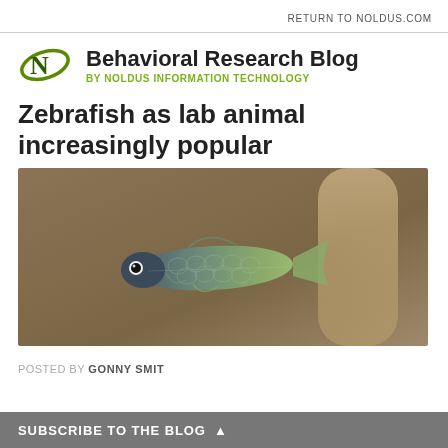RETURN TO NOLDUS.COM
[Figure (logo): Noldus Information Technology logo — stylized N with orbital ellipse, green and dark green colors, beside 'Behavioral Research Blog' title and 'BY NOLDUS INFORMATION TECHNOLOGY' subtitle]
Zebrafish as lab animal increasingly popular
[Figure (photo): Close-up photograph of a zebrafish (Danio rerio) swimming, shown in profile against a brown blurred background. The fish displays its characteristic striped silver-blue scales and small fins.]
POSTED BY GONNY SMIT
SUBSCRIBE TO THE BLOG ▲